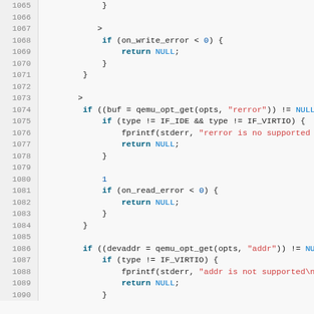[Figure (screenshot): Source code viewer showing C code lines 1065-1090 with syntax highlighting. Line numbers in left gutter, keywords in dark teal bold, string literals in red, NULL keyword in blue.]